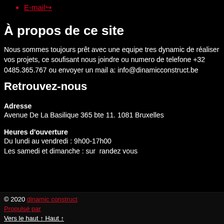E-mail
À propos de ce site
Nous sommes toujours prêt avec une equipe tres dynamic de réaliser vos projets, ce soufisant nous joindre ou numero de telefone +32 0485.365.767 ou envoyer un mail a: info@dinamicconstruct.be
Retrouvez-nous
Adresse
Avenue De La Basilique 365 bte 11. 1081 Bruxelles
Heures d'ouverture
Du lundi au vendredi : 9h00-17h00
Les samedi et dimanche : sur  randez vous
© 2020 dinamic construct
Propulsé par
Vers le haut ↑ Haut ↑